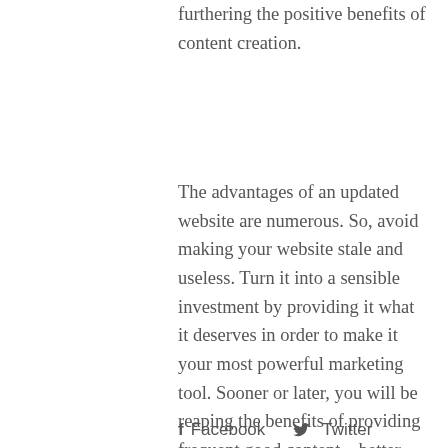furthering the positive benefits of content creation.
The advantages of an updated website are numerous. So, avoid making your website stale and useless. Turn it into a sensible investment by providing it what it deserves in order to make it your most powerful marketing tool. Sooner or later, you will be reaping the benefits of providing frequent good content – better website traffic and improved conversions.
Facebook   Twitter